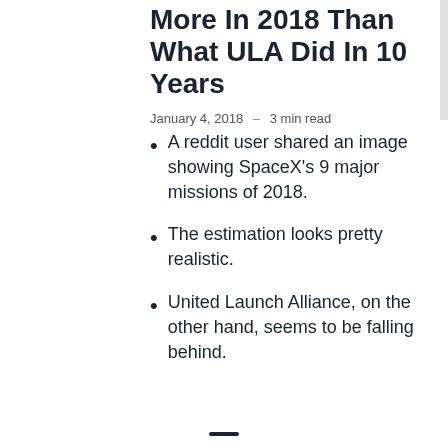More In 2018 Than What ULA Did In 10 Years
January 4, 2018 – 3 min read
A reddit user shared an image showing SpaceX's 9 major missions of 2018.
The estimation looks pretty realistic.
United Launch Alliance, on the other hand, seems to be falling behind.